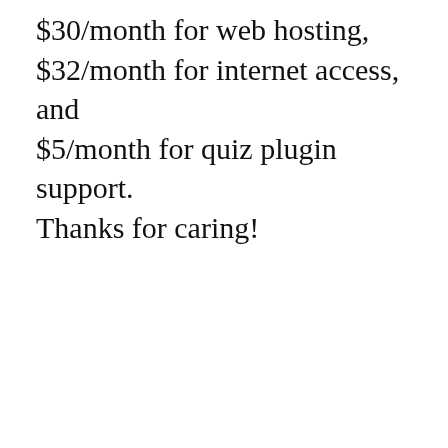$30/month for web hosting, $32/month for internet access, and $5/month for quiz plugin support. Thanks for caring!
[Figure (other): PayPal Donate button with credit card icons (Visa, Mastercard, Maestro, American Express, Discover, JCB) inside a bordered box]
Donate using Venmo!
Categories